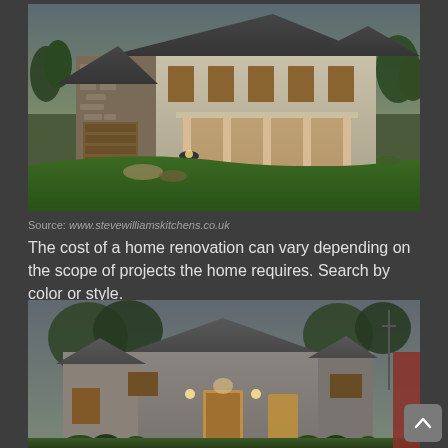[Figure (photo): Exterior of a large two-story renovated home with stone and siding facade, dark shutters, front porch with white columns, garage, landscaped front yard with pathway, photographed at dusk with interior lights on.]
Source: www.stevewilliamskitchens.co.uk
The cost of a home renovation can vary depending on the scope of projects the home requires. Search by color or style.
[Figure (photo): Exterior of a renovated single-story bungalow with gray stucco siding, gabled roof, illuminated front entrance and windows, landscaped front yard with shrubs, photographed at dusk.]